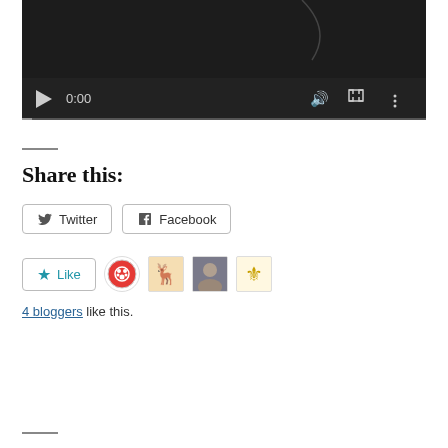[Figure (screenshot): Video player with dark background, showing playback controls: play button, time display 0:00, volume icon, fullscreen icon, more options icon, and a progress bar at the bottom.]
Share this:
Twitter  Facebook
Like  [avatars]
4 bloggers like this.